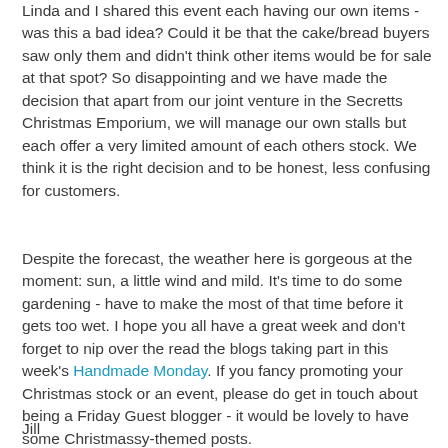Linda and I shared this event each having our own items - was this a bad idea?  Could it be that the cake/bread buyers saw only them and didn't think other items would be for sale at that spot?  So disappointing and we have made the decision that apart from our joint venture in the Secretts Christmas Emporium, we will manage our own stalls but each offer a very limited amount of each others stock.  We think it is the right decision and to be honest, less confusing for customers.
Despite the forecast, the weather here is gorgeous at the moment: sun, a little wind and mild.  It's time to do some gardening - have to make the most of that time before it gets too wet.  I hope you all have a great week and don't forget to nip over the read the blogs taking part in this week's Handmade Monday.  If you fancy promoting your Christmas stock or an event, please do get in touch about being a Friday Guest blogger - it would be lovely to have some Christmassy-themed posts.
Jill